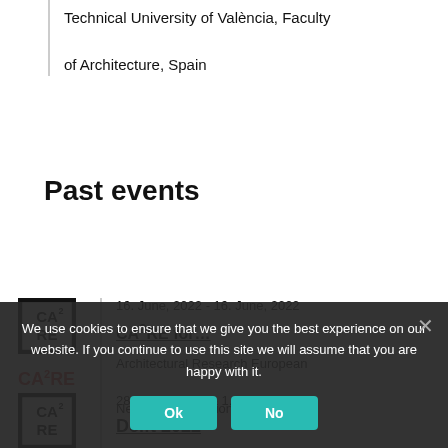Technical University of València, Faculty of Architecture, Spain
Past events
[Figure (logo): CA²RE black bordered logo]
[Figure (logo): CA²RE+ red logo]
16. June, 2022 - 16. June, 2022
CA²RE for…
Architectural Research European Network Association (ARENA), European Association for Architectural Education (EAAE), and European
[Figure (logo): CA²RE black bordered logo (second event)]
[Figure (logo): CA²RE+ red logo (second event)]
28. March, 2022 - 1. April, 2022
Delft 2022
We use cookies to ensure that we give you the best experience on our website. If you continue to use this site we will assume that you are happy with it.